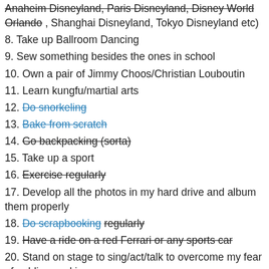Anaheim Disneyland, Paris Disneyland, Disney World Orlando (strikethrough), , Shanghai Disneyland, Tokyo Disneyland etc)
8. Take up Ballroom Dancing
9. Sew something besides the ones in school
10. Own a pair of Jimmy Choos/Christian Louboutin
11. Learn kungfu/martial arts
12. Do snorkeling (blue strikethrough)
13. Bake from scratch (blue strikethrough)
14. Go backpacking (sorta) (strikethrough)
15. Take up a sport
16. Exercise regularly (strikethrough)
17. Develop all the photos in my hard drive and album them properly
18. Do scrapbooking regularly (partial blue strikethrough on 'Do scrapbooking', rest strikethrough)
19. Have a ride on a red Ferrari or any sports car (strikethrough)
20. Stand on stage to sing/act/talk to overcome my fear of public speaking
21. Lie on a hammock and read the whole day
22. Fly in a helicopter
23. Have my dream kitchen
24. Have my dream bathroom
25. Have the courage to eat the fried bugs just like those in (partially blue strikethrough on 'eat the fried bugs')